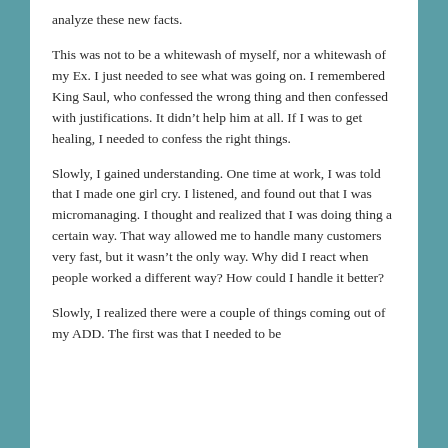analyze these new facts.
This was not to be a whitewash of myself, nor a whitewash of my Ex. I just needed to see what was going on. I remembered King Saul, who confessed the wrong thing and then confessed with justifications. It didn’t help him at all. If I was to get healing, I needed to confess the right things.
Slowly, I gained understanding. One time at work, I was told that I made one girl cry. I listened, and found out that I was micromanaging. I thought and realized that I was doing thing a certain way. That way allowed me to handle many customers very fast, but it wasn’t the only way. Why did I react when people worked a different way? How could I handle it better?
Slowly, I realized there were a couple of things coming out of my ADD. The first was that I needed to be